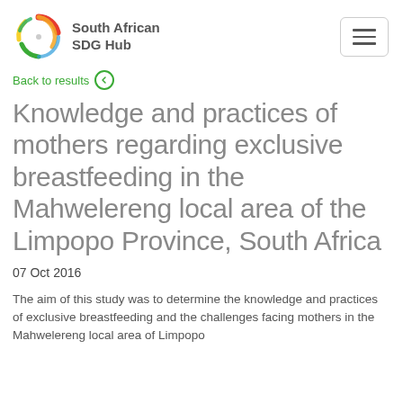South African SDG Hub
Back to results
Knowledge and practices of mothers regarding exclusive breastfeeding in the Mahwelereng local area of the Limpopo Province, South Africa
07 Oct 2016
The aim of this study was to determine the knowledge and practices of exclusive breastfeeding and the challenges facing mothers in the Mahwelereng local area of Limpopo